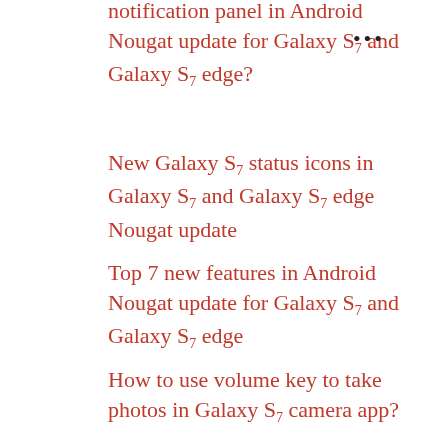notification panel in Android Nougat update for Galaxy S7 and Galaxy S7 edge?
New Galaxy S7 status icons in Galaxy S7 and Galaxy S7 edge Nougat update
Top 7 new features in Android Nougat update for Galaxy S7 and Galaxy S7 edge
How to use volume key to take photos in Galaxy S7 camera app?
How to avoid mirrored photos in Galaxy S7 selfie (front camera)?
...difference between...